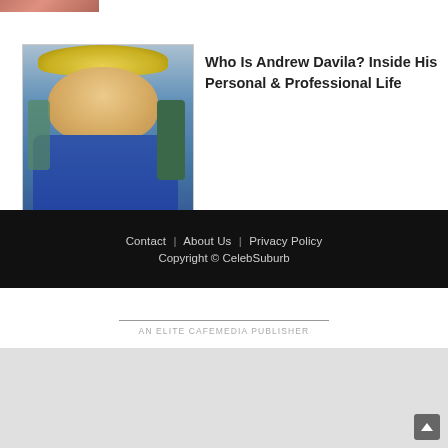[Figure (photo): Partial cropped photo at top of page, showing person in red clothing]
[Figure (photo): Young man with blonde curly hair smiling, seated in vehicle with green seat, wearing blue patterned shirt]
Who Is Andrew Davila? Inside His Personal & Professional Life
Contact | About Us | Privacy Policy
Copyright © CelebSuburb
AN ELITE CAFEMEDIA PUBLISHER